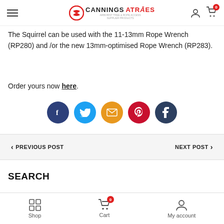Cannings Atraes — website header with logo, hamburger menu, user icon, and cart icon (0 items)
The Squirrel can be used with the 11-13mm Rope Wrench (RP280) and /or the new 13mm-optimised Rope Wrench (RP283).
Order yours now here.
[Figure (infographic): Row of five social sharing circular buttons: Facebook (dark blue), Twitter (light blue), Email (orange), Pinterest (red), Tumblr (dark navy)]
< PREVIOUS POST    NEXT POST >
SEARCH
Shop | Cart (0) | My account